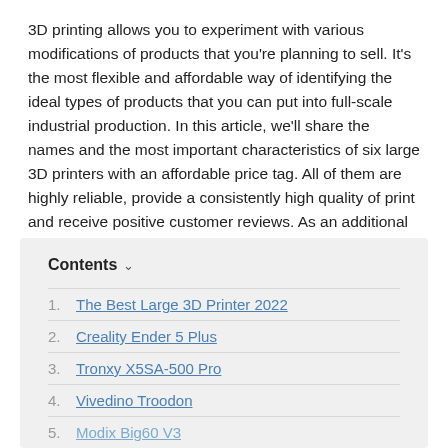3D printing allows you to experiment with various modifications of products that you're planning to sell. It's the most flexible and affordable way of identifying the ideal types of products that you can put into full-scale industrial production. In this article, we'll share the names and the most important characteristics of six large 3D printers with an affordable price tag. All of them are highly reliable, provide a consistently high quality of print and receive positive customer reviews. As an additional bonus, some of them are easily customizable.
Contents
1. The Best Large 3D Printer 2022
2. Creality Ender 5 Plus
3. Tronxy X5SA-500 Pro
4. Vivedino Troodon
5. Modix Big60 V3